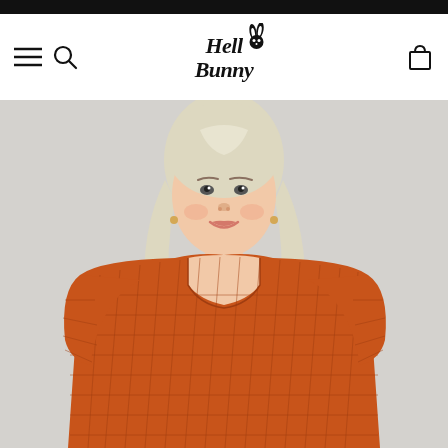Hell Bunny - navigation header with logo, menu icon, search icon, and cart icon
[Figure (photo): Product photo of a plus-size blonde woman wearing an orange/rust checkered grid-pattern square-neck midi dress with 3/4 sleeves, photographed against a light grey background. The Hell Bunny brand website product page.]